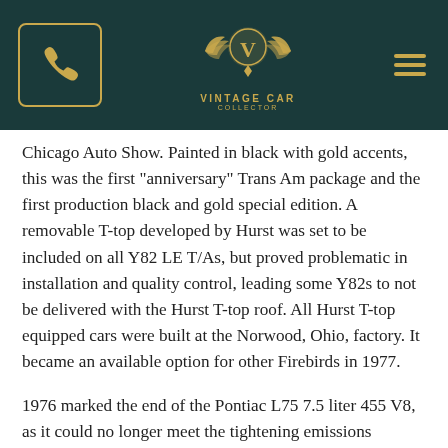Vintage Car Collector — phone and navigation header
Chicago Auto Show. Painted in black with gold accents, this was the first "anniversary" Trans Am package and the first production black and gold special edition. A removable T-top developed by Hurst was set to be included on all Y82 LE T/As, but proved problematic in installation and quality control, leading some Y82s to not be delivered with the Hurst T-top roof. All Hurst T-top equipped cars were built at the Norwood, Ohio, factory. It became an available option for other Firebirds in 1977.
1976 marked the end of the Pontiac L75 7.5 liter 455 V8, as it could no longer meet the tightening emissions restrictions and the "HO" moniker used the year prior was dropped. The L75 was only available with a four-speed manual Borg-Warner